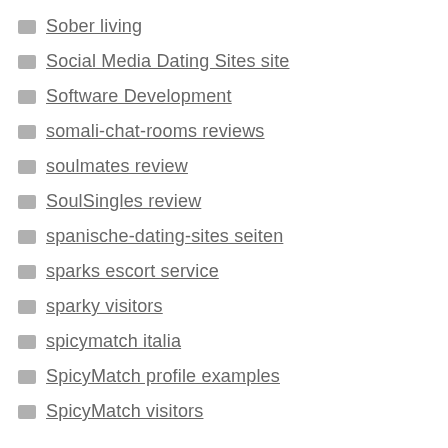Sober living
Social Media Dating Sites site
Software Development
somali-chat-rooms reviews
soulmates review
SoulSingles review
spanische-dating-sites seiten
sparks escort service
sparky visitors
spicymatch italia
SpicyMatch profile examples
SpicyMatch visitors